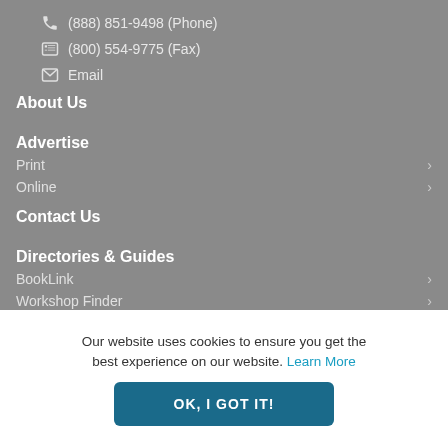(888) 851-9498 (Phone)
(800) 554-9775 (Fax)
Email
About Us
Advertise
Print
Online
Contact Us
Directories & Guides
BookLink
Workshop Finder
Privacy Policy
Rights and Permissions
Our website uses cookies to ensure you get the best experience on our website. Learn More
OK, I GOT IT!